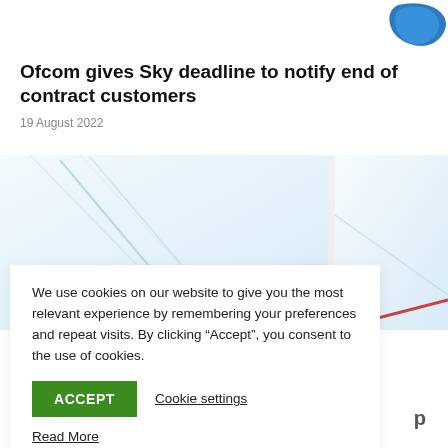[Figure (logo): Sky logo — blue curved shape, top right corner]
Ofcom gives Sky deadline to notify end of contract customers
19 August 2022
[Figure (photo): Close-up photograph of white envelopes on a light blue background, split into two panels]
We use cookies on our website to give you the most relevant experience by remembering your preferences and repeat visits. By clicking “Accept”, you consent to the use of cookies.
ACCEPT   Cookie settings
Read More
19 August 2022